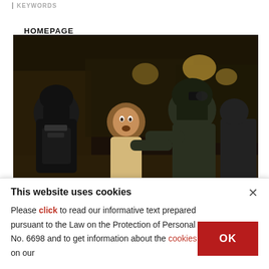KEYWORDS
HOMEPAGE
[Figure (photo): Israeli police officers in dark tactical gear and helmets clashing with a Palestinian youth at night, with street lights visible in background.]
Israeli police clash with Palestinians in
This website uses cookies
Please click to read our informative text prepared pursuant to the Law on the Protection of Personal Data No. 6698 and to get information about the cookies used on our